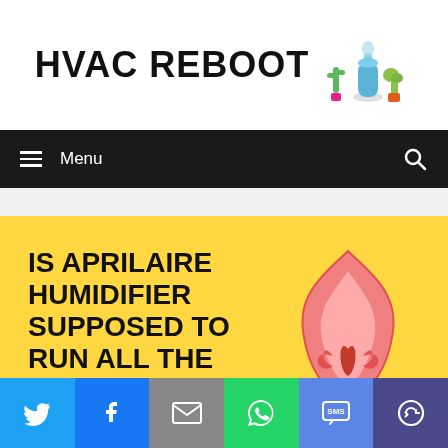HVAC REBOOT
Menu
[Figure (illustration): Yellow background article card with bold black text reading IS APRILAIRE HUMIDIFIER SUPPOSED TO RUN ALL THE and an illustrated flame/leaf icon on the right side]
IS APRILAIRE HUMIDIFIER SUPPOSED TO RUN ALL THE